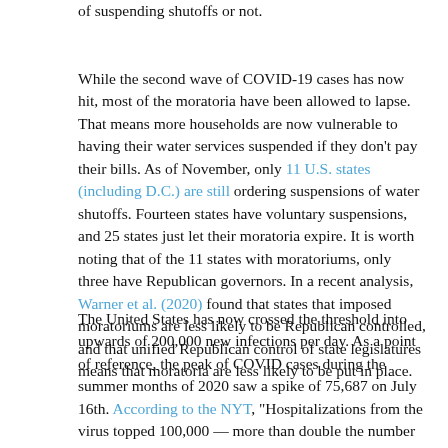of suspending shutoffs or not.
While the second wave of COVID-19 cases has now hit, most of the moratoria have been allowed to lapse. That means more households are now vulnerable to having their water services suspended if they don't pay their bills. As of November, only 11 U.S. states (including D.C.) are still ordering suspensions of water shutoffs. Fourteen states have voluntary suspensions, and 25 states just let their moratoria expire. It is worth noting that of the 11 states with moratoriums, only three have Republican governors. In a recent analysis, Warner et al. (2020) found that states that imposed moratoriums are less likely to be Republican controlled, and that unified Republican control of state legislatures means that moratoria are less likely to be put in place.
The United States has now crossed the threshold into upwards of 200,000 new infections per day. As a point of reference, the peak of COVID cases during the summer months of 2020 saw a spike of 75,687 on July 16th. According to the NYT, "Hospitalizations from the virus topped 100,000 — more than double the number at the